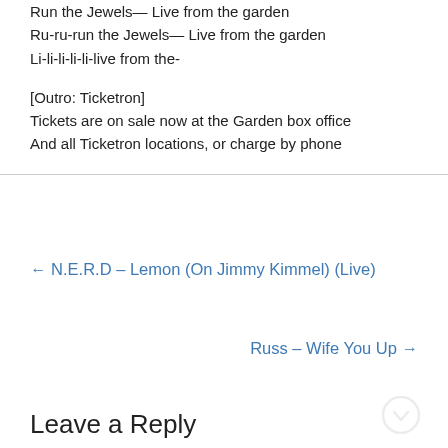Run the Jewels— Live from the garden
Ru-ru-run the Jewels— Live from the garden
Li-li-li-li-li-live from the-
[Outro: Ticketron]
Tickets are on sale now at the Garden box office
And all Ticketron locations, or charge by phone
← N.E.R.D – Lemon (On Jimmy Kimmel) (Live)
Russ – Wife You Up →
Leave a Reply